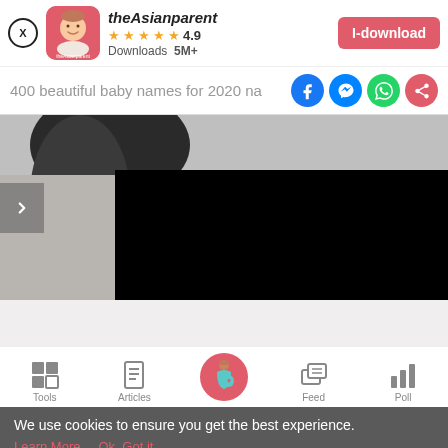[Figure (screenshot): App install banner with theAsianparent app icon, name, 4.9 star rating, 5M+ downloads, and I-download button]
400 beautiful baby names for 2020 na
[Figure (photo): Partial photo of a baby or person with dark hair, with a black overlay panel and a right-chevron navigation button]
[Figure (screenshot): Bottom navigation bar with Tools, Articles, Home (pregnant woman icon), Feed, Poll icons]
We use cookies to ensure you get the best experience.
Learn More   Ok, Got it